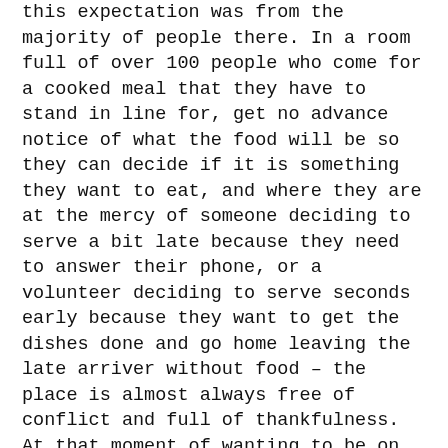this expectation was from the majority of people there. In a room full of over 100 people who come for a cooked meal that they have to stand in line for, get no advance notice of what the food will be so they can decide if it is something they want to eat, and where they are at the mercy of someone deciding to serve a bit late because they need to answer their phone, or a volunteer deciding to serve seconds early because they want to get the dishes done and go home leaving the late arriver without food – the place is almost always free of conflict and full of thankfulness. At that moment of wanting to be on in on the conversation I can't help but think of a room full of 100 people regularly having more agency being presented the same circumstances.
How can this lack of power be something I can translate into my art; how could art provide an experience that could evoke greater understanding on the part of those that might be in a position to influence some of the societal stereotypes that remove power?
Being in spaces, being in helping positions – I have learnt how much I throw around the word vulnerability and how much of a